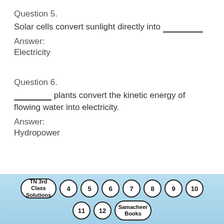Question 5.
Solar cells convert sunlight directly into ______
Answer:
Electricity
Question 6.
_______ plants convert the kinetic energy of flowing water into electricity.
Answer:
Hydropower
TN 3rd Class Solutions  4  5  6  7  8  9  10  11  12  Samacheer Books